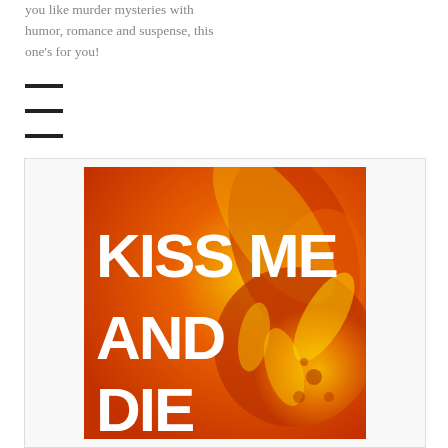you like murder mysteries with humor, romance and suspense, this one's for you!
[Figure (illustration): Book cover for 'KISS ME AND DIE' featuring bold white text on an orange and yellow floral background resembling flames or marigold petals]